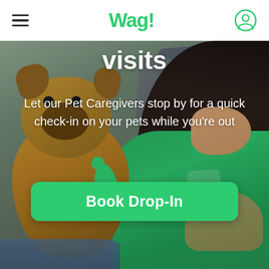Wag!
visits
Let our Pet Caregivers stop by for a quick check-in on your pets while you're out
[Figure (photo): A woman in a green Wag! t-shirt sitting on a couch holding a green toy, with a brown French Bulldog on her lap looking at the camera.]
Book Drop-In